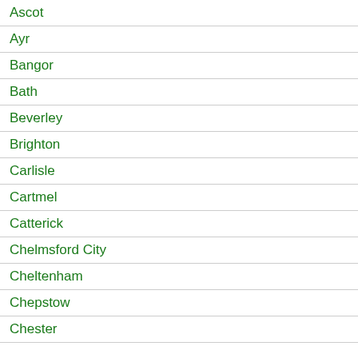Ascot
Ayr
Bangor
Bath
Beverley
Brighton
Carlisle
Cartmel
Catterick
Chelmsford City
Cheltenham
Chepstow
Chester